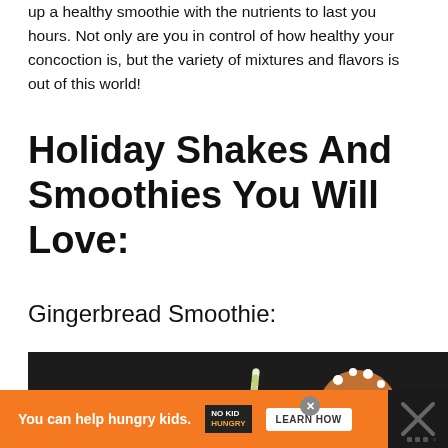up a healthy smoothie with the nutrients to last you hours. Not only are you in control of how healthy your concoction is, but the variety of mixtures and flavors is out of this world!
Holiday Shakes And Smoothies You Will Love:
Gingerbread Smoothie:
[Figure (photo): A gingerbread smoothie in a glass with a green and white striped straw, topped with cinnamon. A decorated gingerbread man cookie is visible in the background on the right, along with pine greenery on the left. Dark background with light surface.]
You can help hungry kids. NO KID HUNGRY LEARN HOW